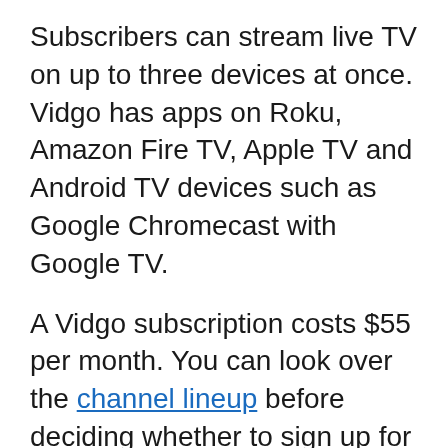Subscribers can stream live TV on up to three devices at once. Vidgo has apps on Roku, Amazon Fire TV, Apple TV and Android TV devices such as Google Chromecast with Google TV.
A Vidgo subscription costs $55 per month. You can look over the channel lineup before deciding whether to sign up for a free 7-day trial.
Watching TLC on YouTube TV
YouTube TV carries TLC along with 85+